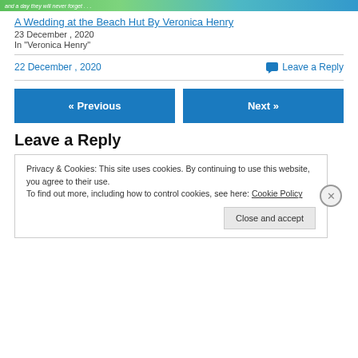[Figure (illustration): Top banner image strip with colorful beach/floral scene and italic text 'and a day they will never forget...']
A Wedding at the Beach Hut By Veronica Henry
23 December , 2020
In "Veronica Henry"
22 December , 2020
Leave a Reply
« Previous
Next »
Leave a Reply
Privacy & Cookies: This site uses cookies. By continuing to use this website, you agree to their use.
To find out more, including how to control cookies, see here: Cookie Policy
Close and accept